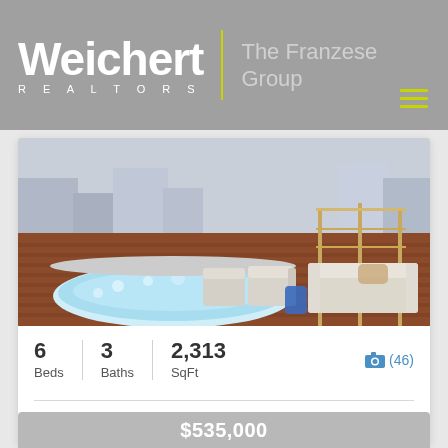[Figure (logo): Weichert Realtors logo with 'The Franzese Group' text on grey background]
[Figure (photo): Rooftop deck with hot tub/jacuzzi, outdoor furniture including chairs and sofa, red deck flooring, and city buildings in background]
6 Beds   3 Baths   2,313 SqFt   📷 (46)
#460228 | House
$535,000